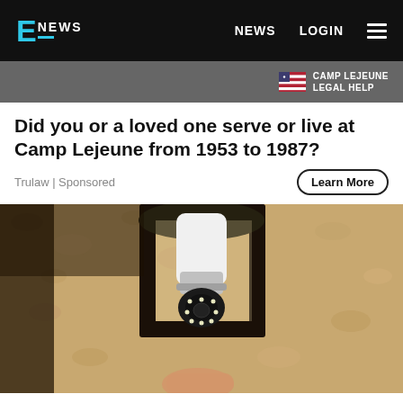E NEWS | NEWS | LOGIN
[Figure (screenshot): Camp Lejeune Legal Help advertisement banner with US flag icon]
Did you or a loved one serve or live at Camp Lejeune from 1953 to 1987?
Trulaw | Sponsored
[Figure (photo): A security camera light bulb being installed into an outdoor wall-mounted lantern fixture on a textured stucco wall]
Homeowners Are Trading In Their Doorbell Cam...